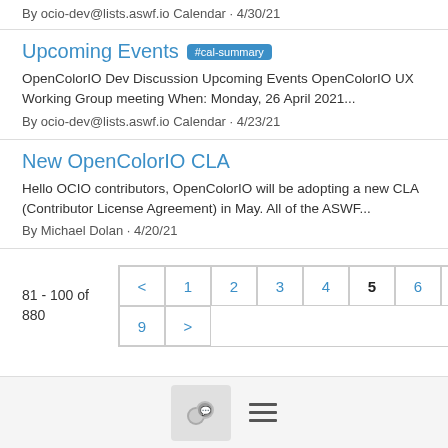By ocio-dev@lists.aswf.io Calendar · 4/30/21
Upcoming Events #cal-summary
OpenColorIO Dev Discussion Upcoming Events OpenColorIO UX Working Group meeting When: Monday, 26 April 2021...
By ocio-dev@lists.aswf.io Calendar · 4/23/21
New OpenColorIO CLA
Hello OCIO contributors, OpenColorIO will be adopting a new CLA (Contributor License Agreement) in May. All of the ASWF...
By Michael Dolan · 4/20/21
81 - 100 of 880
Pagination: < 1 2 3 4 5 6 7 8 9 >
Chat icon and menu